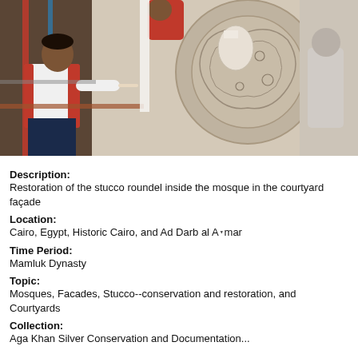[Figure (photo): Workers restoring a stucco roundel on the facade of a mosque courtyard. Two men work on scaffolding next to intricately carved stone/stucco decorations. One man in a white and red shirt is using a tool on the surface.]
Description:
Restoration of the stucco roundel inside the mosque in the courtyard façade
Location:
Cairo, Egypt, Historic Cairo, and Ad Darb al Aḥmar
Time Period:
Mamluk Dynasty
Topic:
Mosques, Facades, Stucco--conservation and restoration, and Courtyards
Collection:
Aga Khan Silver Conservation and Documentation...